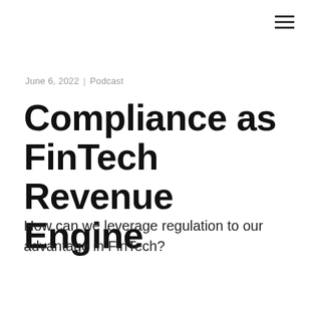June 6, 2022  |  Podcast
Compliance as FinTech Revenue Engine
How can we leverage regulation to our advantage in FinTech?